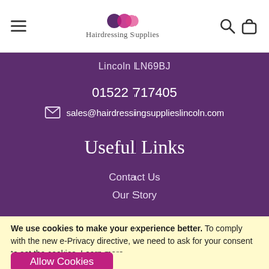Hairdressing Supplies
Lincoln LN69BJ
01522 717405
sales@hairdressingsupplieslincoln.com
Useful Links
Contact Us
Our Story
We use cookies to make your experience better. To comply with the new e-Privacy directive, we need to ask for your consent to set the cookies. Learn more.